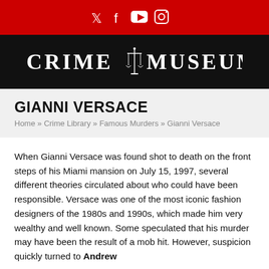Twitter Facebook YouTube Instagram (social media icons)
[Figure (logo): Crime Museum logo with scales of justice icon on black background]
GIANNI VERSACE
Home » Crime Library » Famous Murders » Gianni Versace
When Gianni Versace was found shot to death on the front steps of his Miami mansion on July 15, 1997, several different theories circulated about who could have been responsible. Versace was one of the most iconic fashion designers of the 1980s and 1990s, which made him very wealthy and well known. Some speculated that his murder may have been the result of a mob hit. However, suspicion quickly turned to Andrew